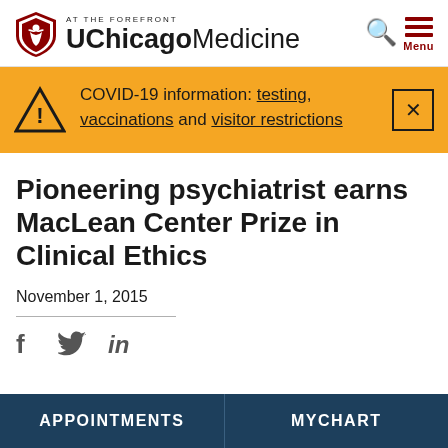AT THE FOREFRONT UChicago Medicine
COVID-19 information: testing, vaccinations and visitor restrictions
Pioneering psychiatrist earns MacLean Center Prize in Clinical Ethics
November 1, 2015
APPOINTMENTS  MYCHART